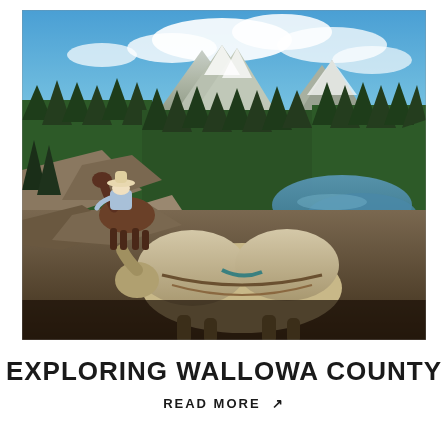[Figure (photo): Outdoor wilderness scene showing a person on horseback and a pack mule in the foreground on a rocky mountain trail, with dense pine forests, a mountain lake, green meadows, and snow-capped peaks in the background under a blue sky with clouds.]
EXPLORING WALLOWA COUNTY
READ MORE ↗